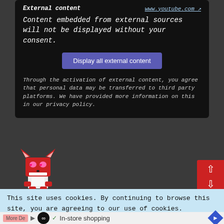External content  www.youtube.com
Content embedded from external sources will not be displayed without your consent.
Display all external content
Through the activation of external content, you agree that personal data may be transferred to third party platforms. We have provided more information on this in our privacy policy.
[Figure (illustration): Pixel art fox avatar with heart-shaped eyes]
[Figure (screenshot): Red scroll up/down navigation buttons on right side]
[Figure (screenshot): Dark video thumbnail partial view]
This site uses cookies. By continuing to browse this site, you are agreeing to our use of cookies.
More D...  ∞  ✓ In-store shopping  navigation icon  ×